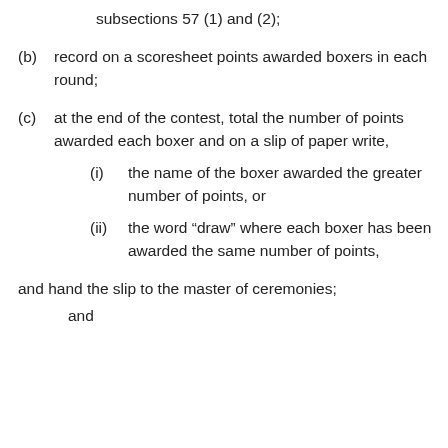subsections 57 (1) and (2);
(b)  record on a scoresheet points awarded boxers in each round;
(c)  at the end of the contest, total the number of points awarded each boxer and on a slip of paper write,
(i)  the name of the boxer awarded the greater number of points, or
(ii)  the word “draw” where each boxer has been awarded the same number of points,
and hand the slip to the master of ceremonies; and